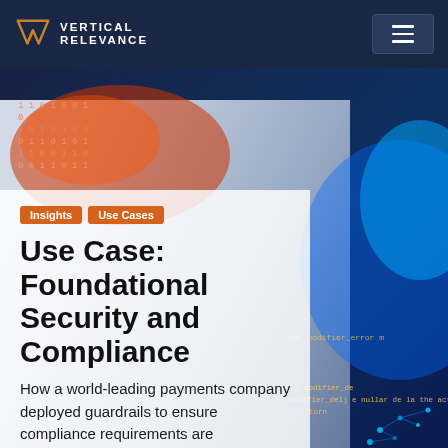[Figure (screenshot): Vertical Relevance company website header with navy navigation bar containing logo and hamburger menu, over a digital/tech themed background with red and blue binary code imagery]
Insights
Use Cases
Use Case: Foundational Security and Compliance
How a world-leading payments company deployed guardrails to ensure compliance requirements are